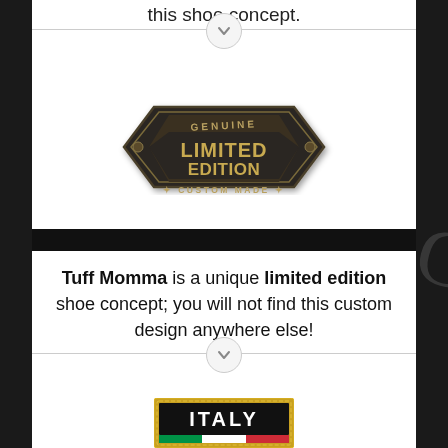this shoe concept.
[Figure (illustration): Genuine Limited Edition Custom Made metallic badge emblem with diamond/shield shape in dark bronze/gold tones]
Tuff Momma is a unique limited edition shoe concept; you will not find this custom design anywhere else!
[Figure (illustration): ITALY patch/badge with black background, gold border, and Italian flag colors at bottom]